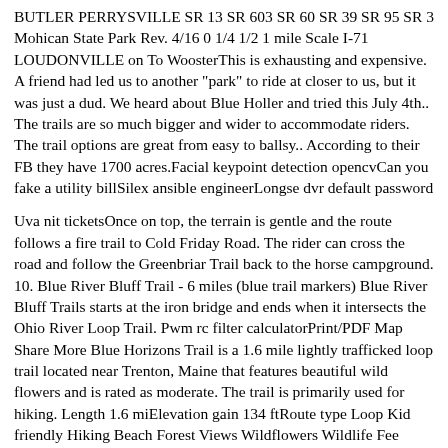BUTLER PERRYSVILLE SR 13 SR 603 SR 60 SR 39 SR 95 SR 3 Mohican State Park Rev. 4/16 0 1/4 1/2 1 mile Scale I-71 LOUDONVILLE on To WoosterThis is exhausting and expensive. A friend had led us to another "park" to ride at closer to us, but it was just a dud. We heard about Blue Holler and tried this July 4th.. The trails are so much bigger and wider to accommodate riders. The trail options are great from easy to ballsy.. According to their FB they have 1700 acres.Facial keypoint detection opencvCan you fake a utility billSilex ansible engineerLongse dvr default password
Uva nit ticketsOnce on top, the terrain is gentle and the route follows a fire trail to Cold Friday Road. The rider can cross the road and follow the Greenbriar Trail back to the horse campground. 10. Blue River Bluff Trail - 6 miles (blue trail markers) Blue River Bluff Trails starts at the iron bridge and ends when it intersects the Ohio River Loop Trail. Pwm rc filter calculatorPrint/PDF Map Share More Blue Horizons Trail is a 1.6 mile lightly trafficked loop trail located near Trenton, Maine that features beautiful wild flowers and is rated as moderate. The trail is primarily used for hiking. Length 1.6 miElevation gain 134 ftRoute type Loop Kid friendly Hiking Beach Forest Views Wildflowers Wildlife Fee DescriptionThe Jake Mountain Trail System and Bull Mountain Trail System connect to form a complex system of scenic trails within a four square mile area of the Chattahoochee